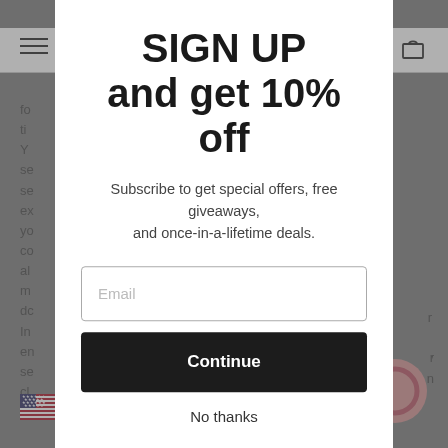[Figure (screenshot): Website popup modal overlay. Background shows a dimmed webpage with navigation bar (hamburger menu, shopping cart icon), partial body text, US flag in bottom left, and a chat bubble icon in bottom right. Foreground is a white modal dialog.]
SIGN UP
and get 10% off
Subscribe to get special offers, free giveaways, and once-in-a-lifetime deals.
Email
Continue
No thanks